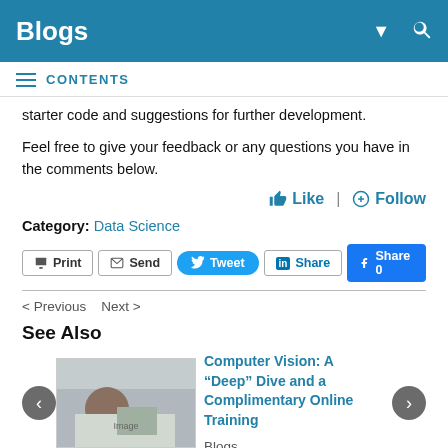Blogs
CONTENTS
starter code and suggestions for further development.
Feel free to give your feedback or any questions you have in the comments below.
Category: Data Science
Print | Send | Tweet | Share | Share 0
< Previous   Next >
See Also
Computer Vision: A “Deep” Dive and a Complimentary Online Training
Blogs